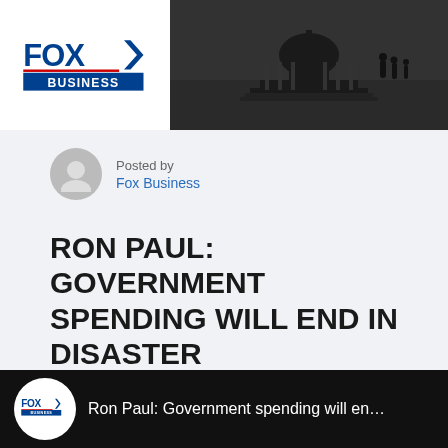[Figure (screenshot): Fox Business banner with logo on left and US Capitol building silhouette photograph on right, dark background]
Posted by
Fox Business
RON PAUL: GOVERNMENT SPENDING WILL END IN DISASTER
December 30, 2019
Business
0
[Figure (screenshot): Fox Business video thumbnail showing Fox Business logo and text: Ron Paul: Government spending will en...]